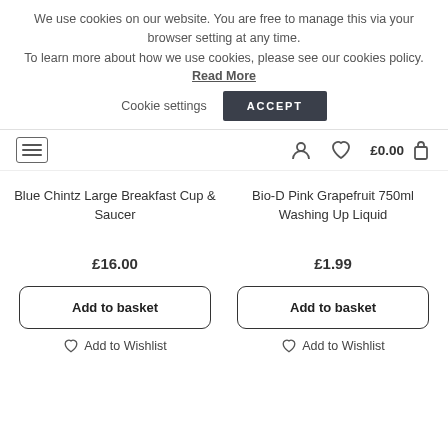We use cookies on our website. You are free to manage this via your browser setting at any time. To learn more about how we use cookies, please see our cookies policy. Read More
Cookie settings  ACCEPT
£0.00
Blue Chintz Large Breakfast Cup & Saucer
Bio-D Pink Grapefruit 750ml Washing Up Liquid
£16.00
£1.99
Add to basket
Add to basket
Add to Wishlist
Add to Wishlist